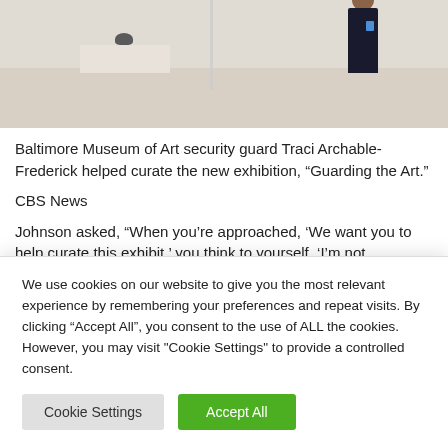[Figure (photo): Museum gallery interior with a white pedestal displaying a small dark sculpture, and a person in dark clothing standing to the right, wearing a badge. Beige/tan walls and floor visible.]
Baltimore Museum of Art security guard Traci Archable-Frederick helped curate the new exhibition, “Guarding the Art.”
CBS News
Johnson asked, “When you’re approached, ‘We want you to help curate this exhibit,’ you think to yourself, ‘I’m not
We use cookies on our website to give you the most relevant experience by remembering your preferences and repeat visits. By clicking “Accept All”, you consent to the use of ALL the cookies. However, you may visit "Cookie Settings" to provide a controlled consent.
Cookie Settings
Accept All